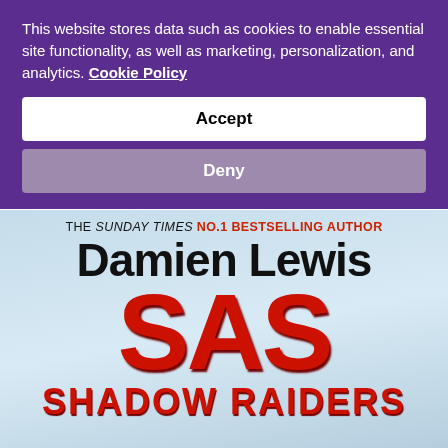This website stores data such as cookies to enable essential site functionality, as well as marketing, personalization, and analytics. Cookie Policy
Accept
Deny
[Figure (illustration): Book cover for 'SAS Shadow Raiders' by Damien Lewis. Light blue background. Top line reads 'THE SUNDAY TIMES NO.1 BESTSELLING AUTHOR' with 'NO.1 BESTSELLING AUTHOR' in red. Author name 'Damien Lewis' in large black bold text. Large red metallic-looking letters 'SAS'. Below that 'SHADOW RAIDERS' in large red bold text.]